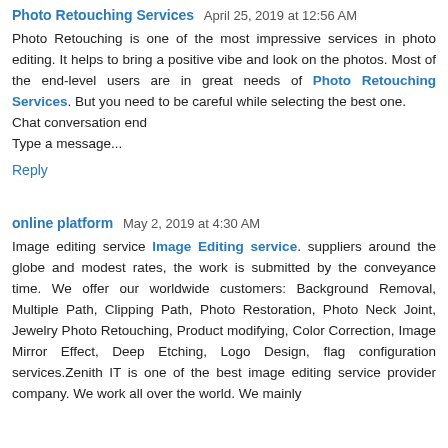Photo Retouching Services   April 25, 2019 at 12:56 AM
Photo Retouching is one of the most impressive services in photo editing. It helps to bring a positive vibe and look on the photos. Most of the end-level users are in great needs of Photo Retouching Services. But you need to be careful while selecting the best one.
Chat conversation end
Type a message...
Reply
online platform   May 2, 2019 at 4:30 AM
Image editing service Image Editing service. suppliers around the globe and modest rates, the work is submitted by the conveyance time. We offer our worldwide customers: Background Removal, Multiple Path, Clipping Path, Photo Restoration, Photo Neck Joint, Jewelry Photo Retouching, Product modifying, Color Correction, Image Mirror Effect, Deep Etching, Logo Design, flag configuration services.Zenith IT is one of the best image editing service provider company. We work all over the world. We mainly